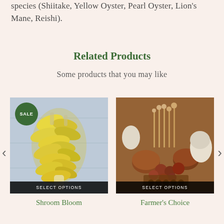species (Shiitake, Yellow Oyster, Pearl Oyster, Lion's Mane, Reishi).
Related Products
Some products that you may like
[Figure (photo): Yellow oyster mushrooms growing, with a green SALE badge in the top-left corner and a SELECT OPTIONS bar at the bottom]
Shroom Bloom
[Figure (photo): Mixed mushroom variety assortment including enoki, shiitake, and white button mushrooms with SELECT OPTIONS bar at the bottom]
Farmer's Choice